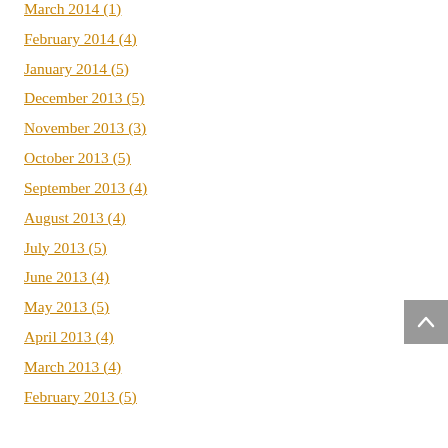March 2014 (1)
February 2014 (4)
January 2014 (5)
December 2013 (5)
November 2013 (3)
October 2013 (5)
September 2013 (4)
August 2013 (4)
July 2013 (5)
June 2013 (4)
May 2013 (5)
April 2013 (4)
March 2013 (4)
February 2013 (5)